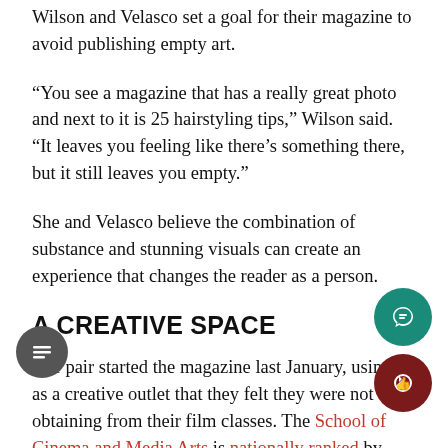Wilson and Velasco set a goal for their magazine to avoid publishing empty art.
“You see a magazine that has a really great photo and next to it is 25 hairstyling tips,” Wilson said. “It leaves you feeling like there’s something there, but it still leaves you empty.”
She and Velasco believe the combination of substance and stunning visuals can create an experience that changes the reader as a person.
A CREATIVE SPACE
The pair started the magazine last January, using it as a creative outlet that they felt they were not obtaining from their film classes. The School of Cinema and Media Arts is nationally ranked by multiple industry-leading sources, but